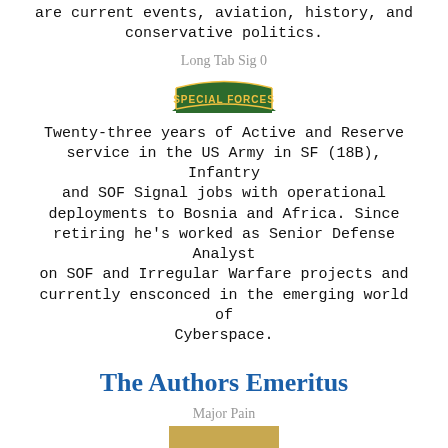are current events, aviation, history, and conservative politics.
Long Tab Sig 0
[Figure (logo): Special Forces tab badge — green arc shape with yellow text reading SPECIAL FORCES]
Twenty-three years of Active and Reserve service in the US Army in SF (18B), Infantry and SOF Signal jobs with operational deployments to Bosnia and Africa. Since retiring he's worked as Senior Defense Analyst on SOF and Irregular Warfare projects and currently ensconced in the emerging world of Cyberspace.
The Authors Emeritus
Major Pain
[Figure (photo): Gold Marine Corps Eagle, Globe, and Anchor emblem on a tan/gold background]
Major Pain -- A Marine who began his blog in